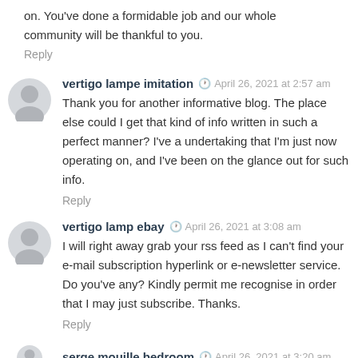on. You've done a formidable job and our whole community will be thankful to you.
Reply
vertigo lampe imitation  April 26, 2021 at 2:57 am
Thank you for another informative blog. The place else could I get that kind of info written in such a perfect manner? I've a undertaking that I'm just now operating on, and I've been on the glance out for such info.
Reply
vertigo lamp ebay  April 26, 2021 at 3:08 am
I will right away grab your rss feed as I can't find your e-mail subscription hyperlink or e-newsletter service. Do you've any? Kindly permit me recognise in order that I may just subscribe. Thanks.
Reply
serge mouille bedroom  April 26, 2021 at 3:20 am